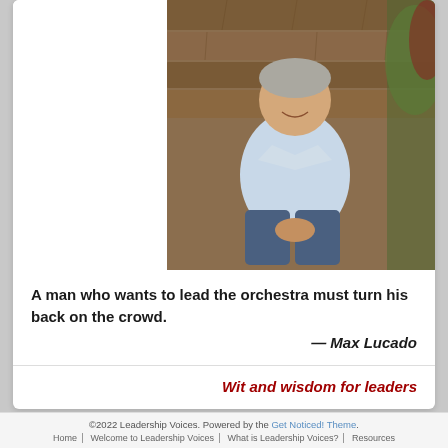[Figure (photo): A smiling middle-aged man in a light blue button-down shirt and jeans, seated on stone steps with greenery behind him.]
A man who wants to lead the orchestra must turn his back on the crowd.
— Max Lucado
Wit and wisdom for leaders
©2022 Leadership Voices. Powered by the Get Noticed! Theme. Home | Welcome to Leadership Voices | What is Leadership Voices? | Resources